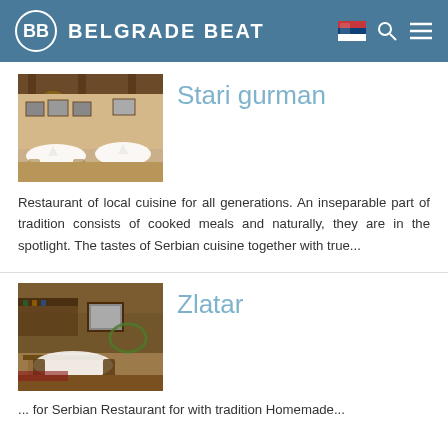BELGRADE BEAT
Stari gurman
[Figure (photo): Interior of Stari gurman restaurant showing dining tables with white tablecloths and wooden decor]
Restaurant of local cuisine for all generations. An inseparable part of tradition consists of cooked meals and naturally, they are in the spotlight. The tastes of Serbian cuisine together with true...
Zlatar
[Figure (photo): Interior of Zlatar restaurant showing rustic wooden decor, tables, and warm lighting]
... for Serbian Restaurant for tradition Homemade...